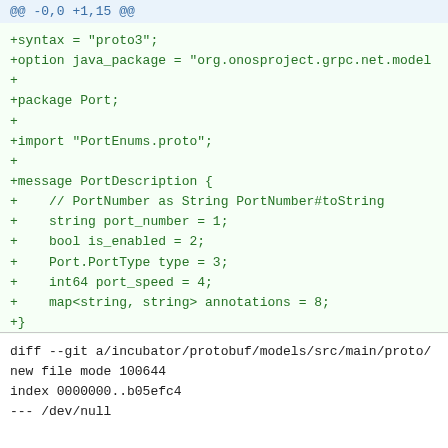@@ -0,0 +1,15 @@
+syntax = "proto3";
+option java_package = "org.onosproject.grpc.net.model
+
+package Port;
+
+import "PortEnums.proto";
+
+message PortDescription {
+    // PortNumber as String PortNumber#toString
+    string port_number = 1;
+    bool is_enabled = 2;
+    Port.PortType type = 3;
+    int64 port_speed = 4;
+    map<string, string> annotations = 8;
+}
\ No newline at end of file
diff --git a/incubator/protobuf/models/src/main/proto/
new file mode 100644
index 0000000..b05efc4
--- /dev/null